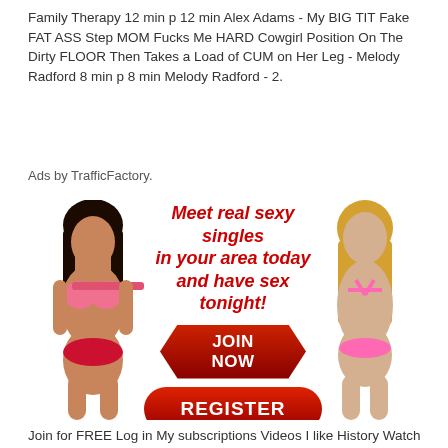Family Therapy 12 min p 12 min Alex Adams - My BIG TIT Fake FAT ASS Step MOM Fucks Me HARD Cowgirl Position On The Dirty FLOOR Then Takes a Load of CUM on Her Leg - Melody Radford 8 min p 8 min Melody Radford - 2.
Ads by TrafficFactory.
[Figure (photo): Adult dating advertisement banner with text 'Meet real sexy singles in your area today and have sex tonight!' with JOIN NOW and REGISTER buttons, flanked by two women in swimwear.]
Join for FREE Log in My subscriptions Videos I like History Watch later My playlists. Date Anytime Last 3 days This week This month Last 3 months Last 6 months. Viewed videos Show